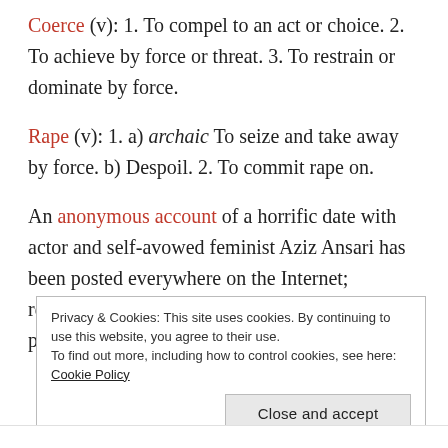Coerce (v): 1. To compel to an act or choice. 2. To achieve by force or threat. 3. To restrain or dominate by force.
Rape (v): 1. a) archaic To seize and take away by force. b) Despoil. 2. To commit rape on.
An anonymous account of a horrific date with actor and self-avowed feminist Aziz Ansari has been posted everywhere on the Internet; responses appear to range from the self-proclaimed sensible guy saying 'look, we
Privacy & Cookies: This site uses cookies. By continuing to use this website, you agree to their use.
To find out more, including how to control cookies, see here: Cookie Policy
[Close and accept]